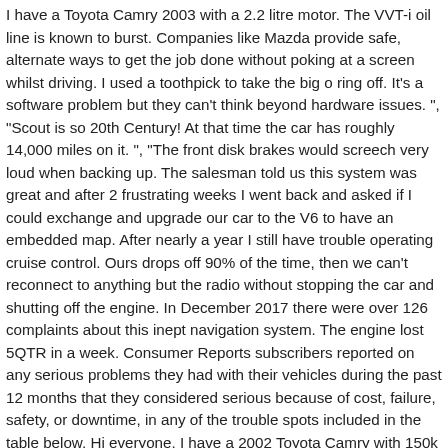I have a Toyota Camry 2003 with a 2.2 litre motor. The VVT-i oil line is known to burst. Companies like Mazda provide safe, alternate ways to get the job done without poking at a screen whilst driving. I used a toothpick to take the big o ring off. It's a software problem but they can't think beyond hardware issues. ", "Scout is so 20th Century! At that time the car has roughly 14,000 miles on it. ", "The front disk brakes would screech very loud when backing up. The salesman told us this system was great and after 2 frustrating weeks I went back and asked if I could exchange and upgrade our car to the V6 to have an embedded map. After nearly a year I still have trouble operating cruise control. Ours drops off 90% of the time, then we can't reconnect to anything but the radio without stopping the car and shutting off the engine. In December 2017 there were over 126 complaints about this inept navigation system. The engine lost 5QTR in a week. Consumer Reports subscribers reported on any serious problems they had with their vehicles during the past 12 months that they considered serious because of cost, failure, safety, or downtime, in any of the trouble spots included in the table below. Hi everyone, I have a 2002 Toyota Camry with 150k miles on it. ", "Voice control is unusable unless phone is tethered (does not work with Bluetooth)". "